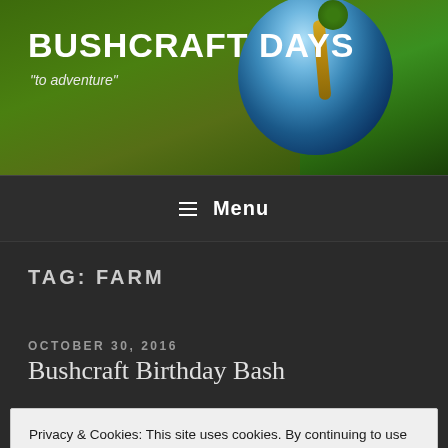BUSHCRAFT DAYS
"to adventure"
≡ Menu
TAG: FARM
OCTOBER 30, 2016
Bushcraft Birthday Bash
Privacy & Cookies: This site uses cookies. By continuing to use this website, you agree to their use.
To find out more, including how to control cookies, see here: Cookie Policy
Close and accept
[Figure (photo): Photo strip at bottom showing people outdoors in bushcraft/camping setting]